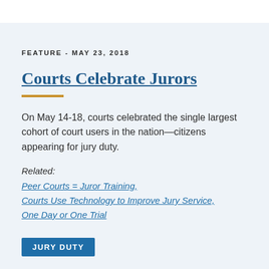FEATURE - MAY 23, 2018
Courts Celebrate Jurors
On May 14-18, courts celebrated the single largest cohort of court users in the nation—citizens appearing for jury duty.
Related:
Peer Courts = Juror Training,
Courts Use Technology to Improve Jury Service,
One Day or One Trial
[Figure (other): JURY DUTY button/badge in teal/blue]